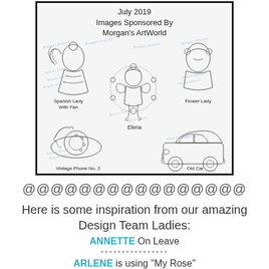[Figure (illustration): Coloring page images sponsored by Morgan's ArtWorld, July 2019. Six sketch illustrations labeled: Spanish Lady With Fan, Flower Lady, Elena, Vintage Phone No. 2, Old Car, and a center fairy/girl figure. Watermark text repeating Morgan's ArtWorld across the images.]
@@@@@@@@@@@@@@@@
Here is some inspiration from our amazing Design Team Ladies:
ANNETTE On Leave
****************
ARLENE is using "My Rose"
Created by Arlene